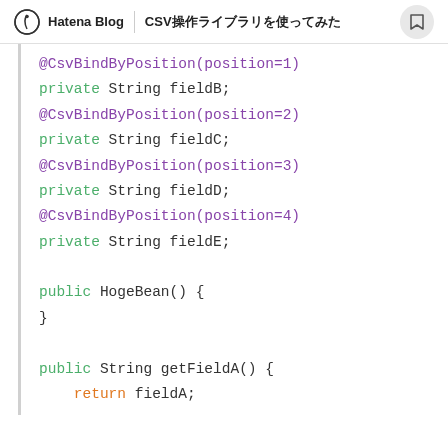Hatena Blog | CSV...
@CsvBindByPosition(position=1)
private String fieldB;
@CsvBindByPosition(position=2)
private String fieldC;
@CsvBindByPosition(position=3)
private String fieldD;
@CsvBindByPosition(position=4)
private String fieldE;

public HogeBean() {
}

public String getFieldA() {
    return fieldA;